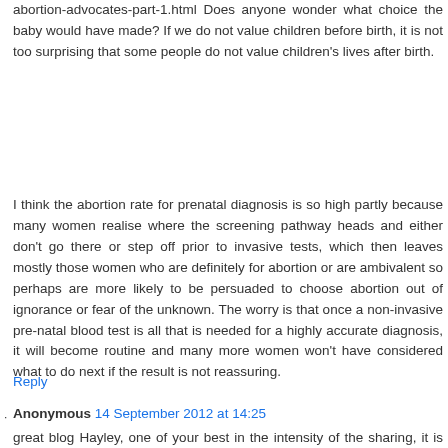abortion-advocates-part-1.html Does anyone wonder what choice the baby would have made? If we do not value children before birth, it is not too surprising that some people do not value children's lives after birth.
I think the abortion rate for prenatal diagnosis is so high partly because many women realise where the screening pathway heads and either don't go there or step off prior to invasive tests, which then leaves mostly those women who are definitely for abortion or are ambivalent so perhaps are more likely to be persuaded to choose abortion out of ignorance or fear of the unknown. The worry is that once a non-invasive pre-natal blood test is all that is needed for a highly accurate diagnosis, it will become routine and many more women won't have considered what to do next if the result is not reassuring.
Reply
Anonymous 14 September 2012 at 14:25
great blog Hayley, one of your best in the intensity of the sharing, it is good to voice the dismair at all that is out...